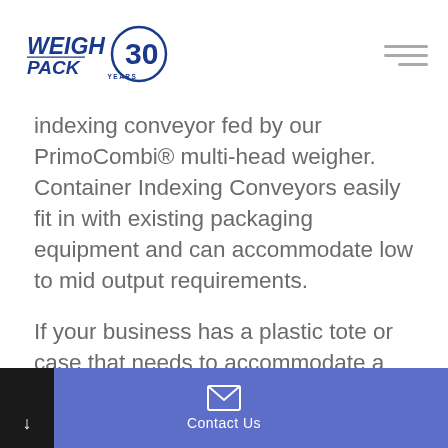WeighPack 30 Years logo
indexing conveyor fed by our PrimoCombi® multi-head weigher. Container Indexing Conveyors easily fit in with existing packaging equipment and can accommodate low to mid output requirements.
If your business has a plastic tote or case that needs to accommodate a larger volume of product, we may recommend our PrimoLinear™ Series for bulk filling requirements. These systems have been
Contact Us